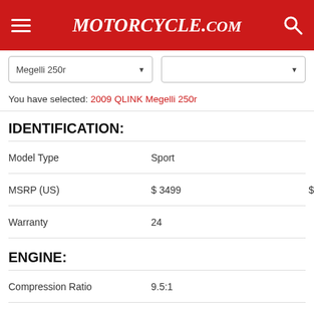Motorcycle.com
Megelli 250r [dropdown] [dropdown]
You have selected: 2009 QLINK Megelli 250r
IDENTIFICATION:
| Specification | Value |
| --- | --- |
| Model Type | Sport |
| MSRP (US) | $ 3499 |
| Warranty | 24 |
ENGINE:
| Specification | Value |
| --- | --- |
| Compression Ratio | 9.5:1 |
| Cooling | Liquid |
| Cylinders | 1 |
| Engine Stroke | 4-Stroke |